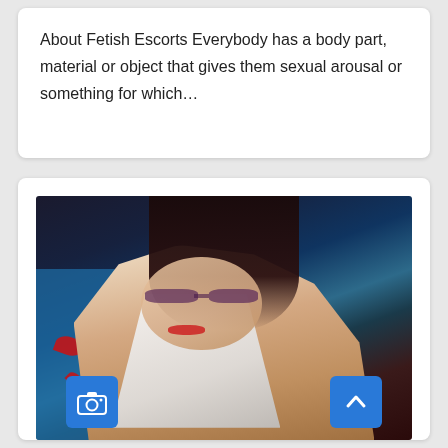About Fetish Escorts Everybody has a body part, material or object that gives them sexual arousal or something for which…
[Figure (photo): A woman with dark hair, glasses and red lipstick wearing a white shirt, lying on a bed covered with red rose petals, looking toward the camera. Two UI buttons visible: a blue camera button at bottom-left and a blue scroll-to-top button at bottom-right.]